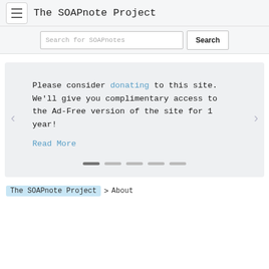The SOAPnote Project
Search for SOAPnotes
[Figure (screenshot): Carousel slide with donation message: 'Please consider donating to this site. We'll give you complimentary access to the Ad-Free version of the site for 1 year!' with a Read More link and navigation dots below.]
The SOAPnote Project > About